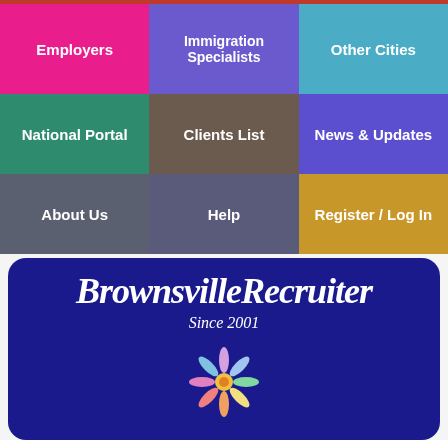[Figure (screenshot): Navigation grid with 9 colored menu buttons: Employers (pink), Immigration Specialists (purple), Other Cities (teal), National Portal (green), Clients List (brown), News & Updates (indigo), About Us (slate), Help (dark slate), Register / Log In (gold)]
[Figure (logo): BrownsvilleRecruiter logo on dark blue rounded rectangle background, with 'Since 2001' subtitle and colorful flower/people icon]
the smart solution for Brownsville jobs
[Figure (infographic): Social sharing buttons: Facebook, Messenger, Twitter, LinkedIn, Email, More (+)]